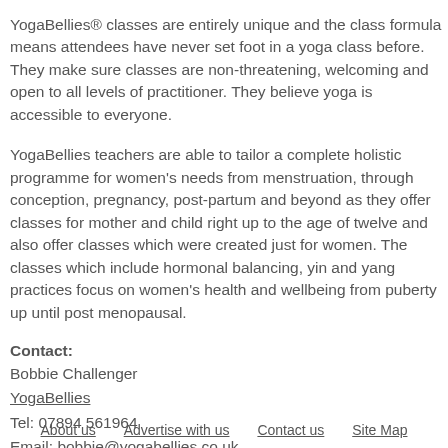YogaBellies® classes are entirely unique and the class formula means attendees have never set foot in a yoga class before. They make sure classes are non-threatening, welcoming and open to all levels of practitioner. They believe yoga is accessible to everyone.
YogaBellies teachers are able to tailor a complete holistic programme for women's needs from menstruation, through conception, pregnancy, post-partum and beyond as they offer classes for mother and child right up to the age of twelve and also offer classes which were created just for women. The classes which include hormonal balancing, yin and yang practices focus on women's health and wellbeing from puberty up until post menopausal.
Contact:
Bobbie Challenger
YogaBellies
Tel: 07894 561964
Email: bobbie@yogabellies.co.uk
www.yogabellies.co.uk
About us   Advertise with us   Contact us   Site Map